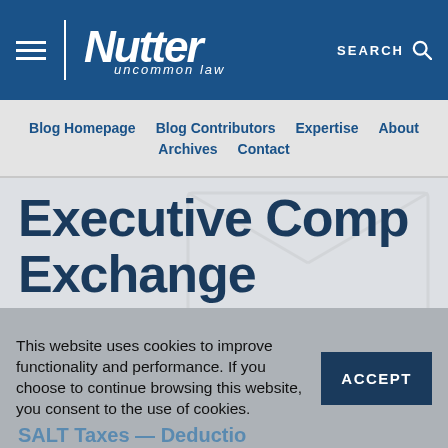Nutter uncommon law — SEARCH
Blog Homepage  Blog Contributors  Expertise  About  Archives  Contact
Executive Comp Exchange
This website uses cookies to improve functionality and performance. If you choose to continue browsing this website, you consent to the use of cookies.
SALT Taxes — Deductio...